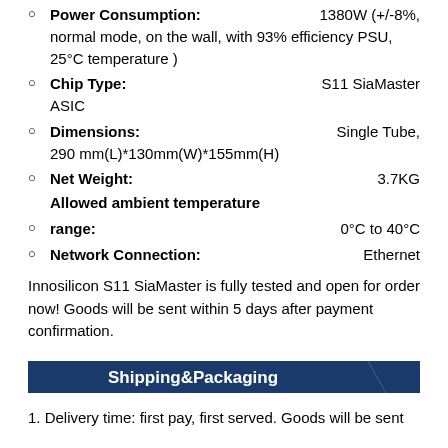Power Consumption: 1380W (+/-8%, normal mode, on the wall, with 93% efficiency PSU, 25°C temperature )
Chip Type: S11 SiaMaster ASIC
Dimensions: Single Tube, 290 mm(L)*130mm(W)*155mm(H)
Net Weight: 3.7KG
Allowed ambient temperature range: 0°C to 40°C
Network Connection: Ethernet
Innosilicon S11 SiaMaster is fully tested and open for order now! Goods will be sent within 5 days after payment confirmation.
Shipping&Packaging
1. Delivery time: first pay, first served. Goods will be sent